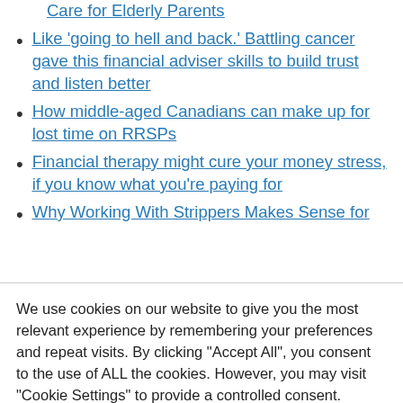Care for Elderly Parents
Like 'going to hell and back.' Battling cancer gave this financial adviser skills to build trust and listen better
How middle-aged Canadians can make up for lost time on RRSPs
Financial therapy might cure your money stress, if you know what you're paying for
Why Working With Strippers Makes Sense for
We use cookies on our website to give you the most relevant experience by remembering your preferences and repeat visits. By clicking "Accept All", you consent to the use of ALL the cookies. However, you may visit "Cookie Settings" to provide a controlled consent.